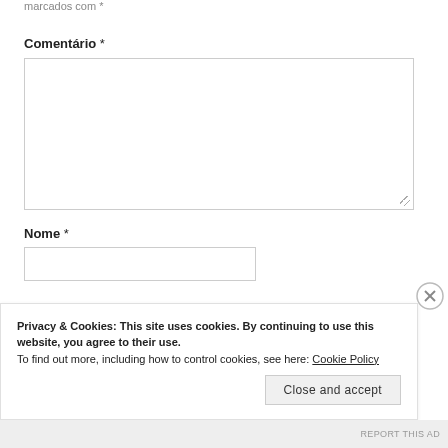marcados com *
Comentário *
[Figure (other): Empty textarea input box for comment]
Nome *
[Figure (other): Empty text input box for name]
Privacy & Cookies: This site uses cookies. By continuing to use this website, you agree to their use.
To find out more, including how to control cookies, see here: Cookie Policy
Close and accept